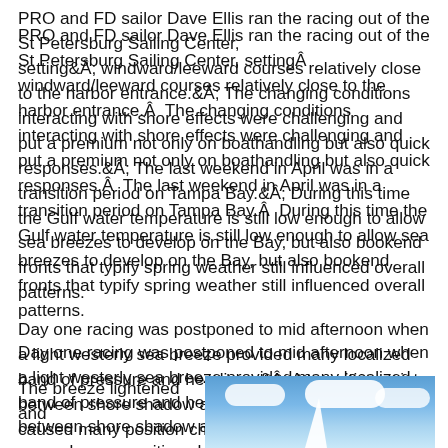PRO and FD sailor Dave Ellis ran the racing out of the St Petersburg Sailing Center, settingÂ windward/leeward courses relatively close to the harbor entrance.Â The changing conditions interacting with shore effects were challenging and put a premium not only on boathandling but also quick responses.Â The last weekend in April was in a transition period on Tampa Bay.Â During this time the Gulf water temperature is still low enough to allow sea breezes to develop on the Bay, but also bookend fronts that typify spring weather still influenced overall patterns.
Day one racing was postponed to mid afternoon when a light westerly sea breeze provided many localized band of pressure and headings.Â A transition point between shore shadow and steady bay breeze caused many position changes.
The breeze lightened and
[Figure (photo): Partial photo showing a blue sky with white clouds and what appears to be a sail or sailboat at the bottom edge.]